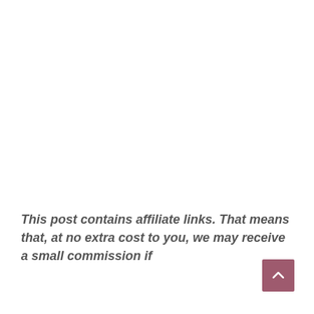This post contains affiliate links. That means that, at no extra cost to you, we may receive a small commission if